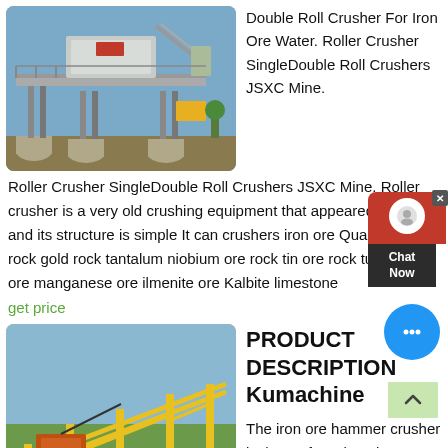[Figure (photo): Industrial double roll crusher machine installation on an elevated steel structure platform, with cylindrical concrete bases, blue sky background.]
Double Roll Crusher For Iron Ore Water. Roller Crusher SingleDouble Roll Crushers JSXC Mine.
Roller Crusher SingleDouble Roll Crushers JSXC Mine. Roller crusher is a very old crushing equipment that appeared 1806 and its structure is simple It can crushers iron ore Quartz Stone rock gold rock tantalum niobium ore rock tin ore rock tungsten ore manganese ore ilmenite ore Kalbite limestone
get price
[Figure (photo): Yellow steel frame conveyor and crushing equipment on a construction/mining site, with timestamp 2010/09/23 15:14.]
PRODUCT DESCRIPTION Kumachine
The iron ore hammer crusher is the preferred equipment for small, low-investment, well-